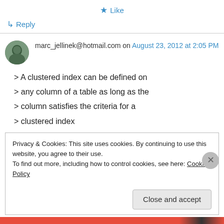★ Like
↳ Reply
marc_jellinek@hotmail.com on August 23, 2012 at 2:05 PM
> A clustered index can be defined on
> any column of a table as long as the
> column satisfies the criteria for a
> clustered index
Privacy & Cookies: This site uses cookies. By continuing to use this website, you agree to their use.
To find out more, including how to control cookies, see here: Cookie Policy
Close and accept